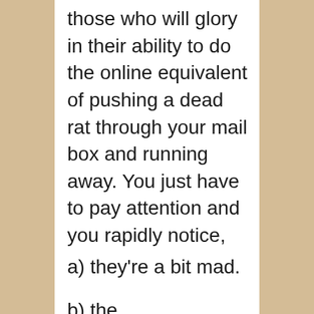those who will glory in their ability to do the online equivalent of pushing a dead rat through your mail box and running away. You just have to pay attention and you rapidly notice,
a) they're a bit mad.
b) they are a few i...